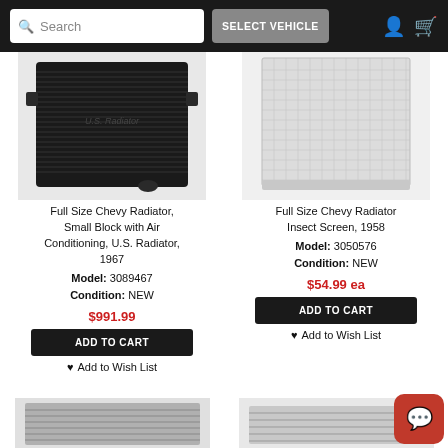Search | SELECT VEHICLE
[Figure (photo): Black aluminum radiator for Full Size Chevy, Small Block with Air Conditioning]
Full Size Chevy Radiator, Small Block with Air Conditioning, U.S. Radiator, 1967
Model: 3089467
Condition: NEW
$991.99
ADD TO CART
Add to Wish List
[Figure (photo): Gray/silver mesh insect screen for Full Size Chevy Radiator]
Full Size Chevy Radiator Insect Screen, 1958
Model: 3050576
Condition: NEW
$54.99 ea
ADD TO CART
Add to Wish List
[Figure (photo): Bottom partial product image left - radiator]
[Figure (photo): Bottom partial product image right - radiator]